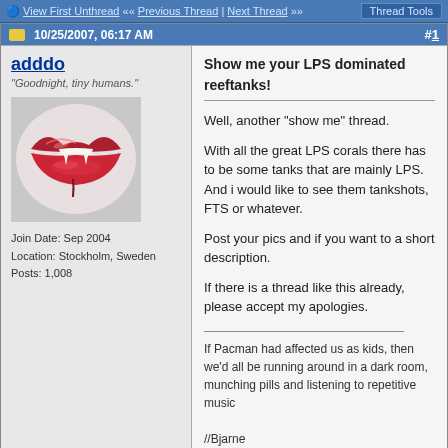View First Unthread | Previous Thread | Next Thread | Thread Tools
10/25/2007, 06:17 AM  #1
adddo
"Goodnight, tiny humans."
Join Date: Sep 2004
Location: Stockholm, Sweden
Posts: 1,008
[Figure (photo): Avatar image showing red glossy lips]
Show me your LPS dominated reeftanks!

Well, another "show me" thread.

With all the great LPS corals there has to be some tanks that are mainly LPS. And i would like to see them tankshots, FTS or whatever.

Post your pics and if you want to a short description.

If there is a thread like this already, please accept my apologies.

If Pacman had affected us as kids, then we'd all be running around in a dark room, munching pills and listening to repetitive music

//Bjarne
10/25/2007, 07:27 PM